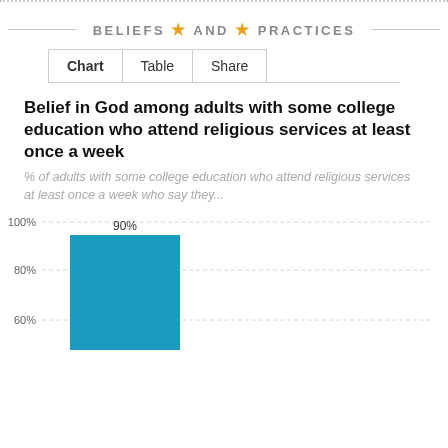BELIEFS AND PRACTICES
Chart	Table	Share
Belief in God among adults with some college education who attend religious services at least once a week
% of adults with some college education who attend religious services at least once a week who say they...
[Figure (bar-chart): Belief in God among adults with some college education who attend religious services at least once a week]